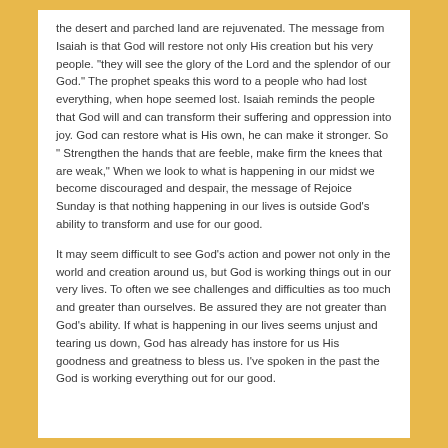the desert and parched land are rejuvenated.  The message from Isaiah is that God will restore not only His creation but his very people.   "they will see the glory of the Lord and the splendor of our God."   The prophet speaks this word to a people who had lost everything, when hope seemed lost.  Isaiah reminds the people that God will and can transform their suffering and oppression into joy.    God can restore what is His own, he can make it stronger.   So " Strengthen the hands that are feeble, make firm the knees that are weak,"  When we look to what is happening in our midst we become discouraged and despair, the message of Rejoice Sunday is that nothing happening in our lives is outside God's ability to transform and use for our good.
It may seem difficult to see God's action and power not only in the world and creation around us, but God is working things out in our very lives.  To often we see challenges and difficulties as too much and greater than ourselves.   Be assured they are not greater than God's ability.  If what is happening in our lives seems unjust and tearing us down, God has already has instore for us His goodness and greatness to bless us.  I've spoken in the past the God is working everything out for our good.